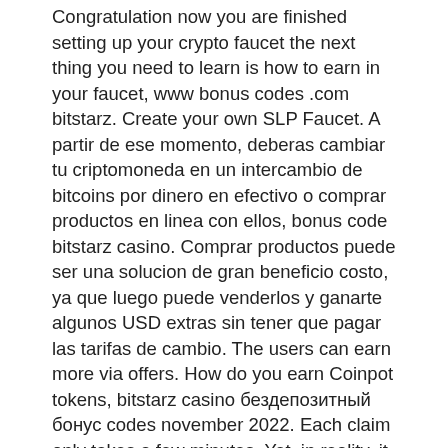Congratulation now you are finished setting up your crypto faucet the next thing you need to learn is how to earn in your faucet, www bonus codes .com bitstarz. Create your own SLP Faucet. A partir de ese momento, deberas cambiar tu criptomoneda en un intercambio de bitcoins por dinero en efectivo o comprar productos en linea con ellos, bonus code bitstarz casino. Comprar productos puede ser una solucion de gran beneficio costo, ya que luego puede venderlos y ganarte algunos USD extras sin tener que pagar las tarifas de cambio. The users can earn more via offers. How do you earn Coinpot tokens, bitstarz casino бездепозитный бонус codes november 2022. Each claim only takes a few minutes. Yet, in reality, it can be very disruptive to your day, bitstarz tesla giveaway. To make bitcoin faucets more profitable, you can add content and create unique and interesting stuff. How Bitcoin Faucet Works, bitstarz